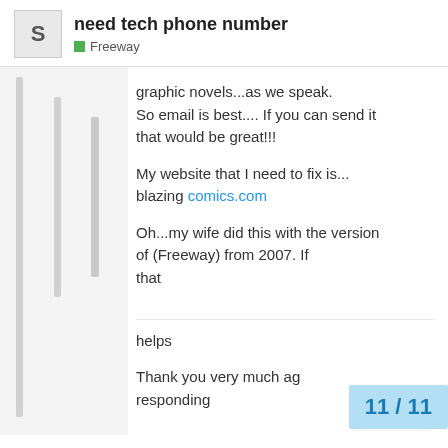need tech phone number | Freeway
graphic novels...as we speak. So email is best.... If you can send it that would be great!!!
My website that I need to fix is... blazing comics.com
Oh...my wife did this with the version of (Freeway) from 2007. If that
helps
Thank you very much ag
responding
11 / 11